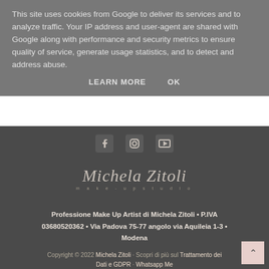This site uses cookies from Google to deliver its services and to analyze traffic. Your IP address and user-agent are shared with Google along with performance and security metrics to ensure quality of service, generate usage statistics, and to detect and address abuse.
LEARN MORE   OK
[Figure (other): Social media icons: Facebook, Instagram, YouTube]
[Figure (logo): Michela Zitoli make-up studio script logo]
Professione Make Up Artist di Michela Zitoli • P.IVA 03680520362 • Via Padova 75-77 angolo via Aquileia 1-3 • Modena
Copyright © 2022 Michela Zitoli · Scopri di più sul Trattamento dei Dati e GDPR · Whatsapp Me